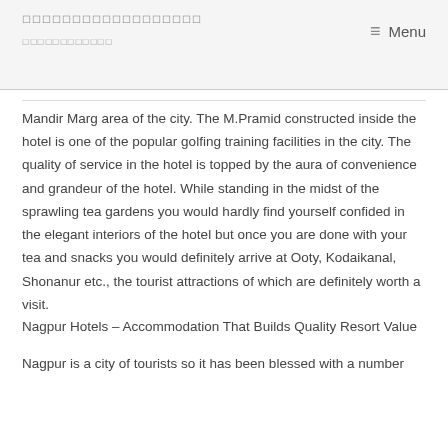☐☐☐☐☐☐☐☐☐☐☐☐☐☐☐☐☐☐ | ☐☐☐☐☐☐☐☐☐☐☐☐ | Menu
Mandir Marg area of the city. The M.Pramid constructed inside the hotel is one of the popular golfing training facilities in the city. The quality of service in the hotel is topped by the aura of convenience and grandeur of the hotel. While standing in the midst of the sprawling tea gardens you would hardly find yourself confided in the elegant interiors of the hotel but once you are done with your tea and snacks you would definitely arrive at Ooty, Kodaikanal, Shonanur etc., the tourist attractions of which are definitely worth a visit.
Nagpur Hotels – Accommodation That Builds Quality Resort Value
Nagpur is a city of tourists so it has been blessed with a number